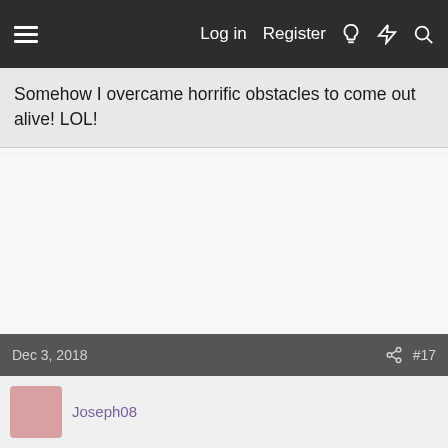Log in  Register
Somehow I overcame horrific obstacles to come out alive! LOL!
Dec 3, 2018   #17
Joseph08